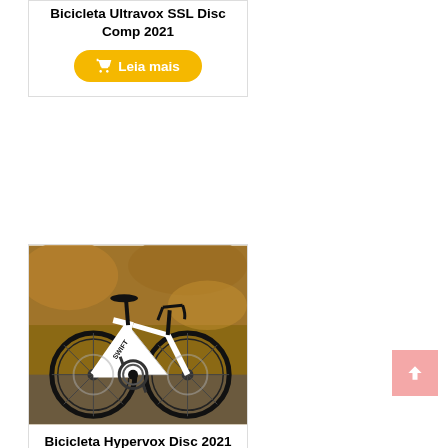Bicicleta Ultravox SSL Disc Comp 2021
Leia mais
[Figure (photo): White road bicycle with black wheels (Swift brand) photographed outdoors with autumn foliage background]
Bicicleta Hypervox Disc 2021
Leia mais